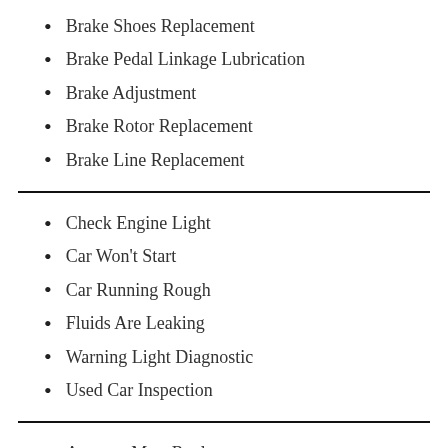Brake Shoes Replacement
Brake Pedal Linkage Lubrication
Brake Adjustment
Brake Rotor Replacement
Brake Line Replacement
Check Engine Light
Car Won't Start
Car Running Rough
Fluids Are Leaking
Warning Light Diagnostic
Used Car Inspection
Antenna Mast Replacement